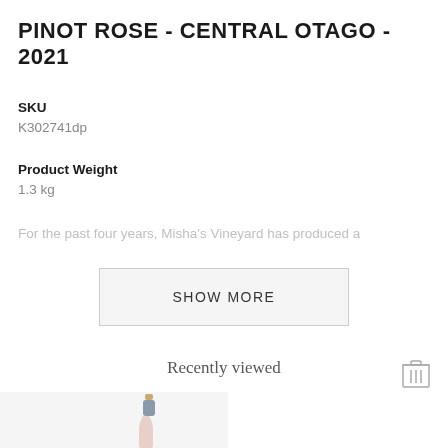PINOT ROSE - CENTRAL OTAGO - 2021
SKU
K302741dp
Product Weight
1.3 kg
For the past four years, Misha's Vineyard has produced a
SHOW MORE
Recently viewed
[Figure (other): Trash/delete icon]
[Figure (other): Product card showing a wine bottle with DUTY PAID badge]